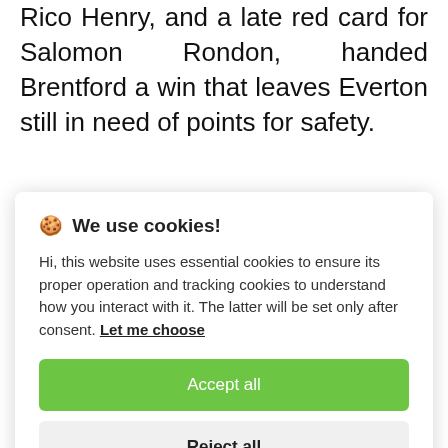Rico Henry, and a late red card for Salomon Rondon, handed Brentford a win that leaves Everton still in need of points for safety.
Everton are in 16th place on 36 points
🍪 We use cookies!
Hi, this website uses essential cookies to ensure its proper operation and tracking cookies to understand how you interact with it. The latter will be set only after consent. Let me choose
[Accept all] [Reject all]
Arsenal next Sunday.